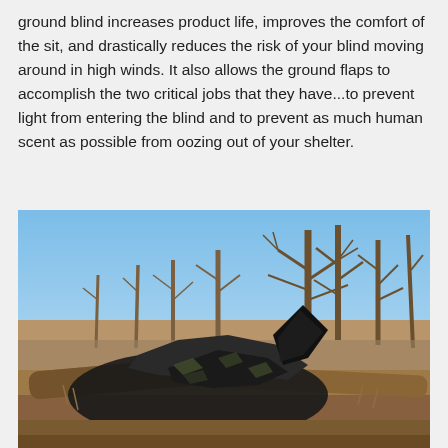ground blind increases product life, improves the comfort of the sit, and drastically reduces the risk of your blind moving around in high winds. It also allows the ground flaps to accomplish the two critical jobs that they have...to prevent light from entering the blind and to prevent as much human scent as possible from oozing out of your shelter.
[Figure (photo): Outdoor photo showing a collapsed or damaged hunting ground blind lying on the ground surrounded by bare winter trees against a blue sky. The blind appears dark/camouflage colored, crumpled among fallen logs and dry vegetation.]